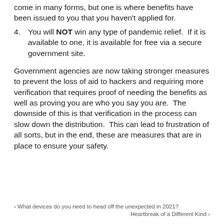come in many forms, but one is where benefits have been issued to you that you haven't applied for.
4. You will NOT win any type of pandemic relief. If it is available to one, it is available for free via a secure government site.
Government agencies are now taking stronger measures to prevent the loss of aid to hackers and requiring more verification that requires proof of needing the benefits as well as proving you are who you say you are. The downside of this is that verification in the process can slow down the distribution. This can lead to frustration of all sorts, but in the end, these are measures that are in place to ensure your safety.
< What devices do you need to head off the unexpected in 2021?
Heartbreak of a Different Kind >